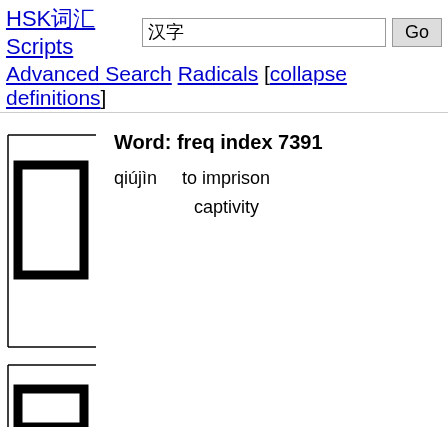HSK词汇 Scripts 汉字 Go Advanced Search Radicals [collapse definitions]
Word: freq index 7391
qiújìn    to imprison
captivity
[Figure (illustration): Stroke order diagram for Chinese character 囚 (to imprison) showing a large bordered box with inner rectangle, partially cut off second character below]